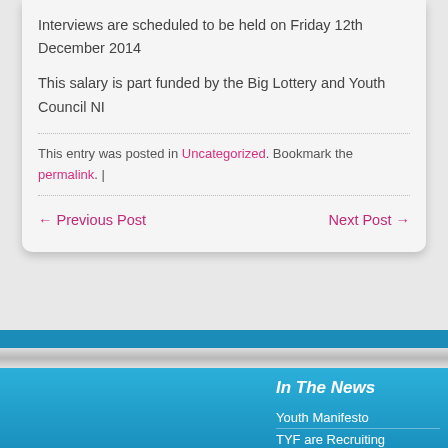Interviews are scheduled to be held on Friday 12th December 2014
This salary is part funded by the Big Lottery and Youth Council NI
This entry was posted in Uncategorized. Bookmark the permalink. |
← Previous Post    Next Post →
In The News
Youth Manifesto
TYF are Recruiting